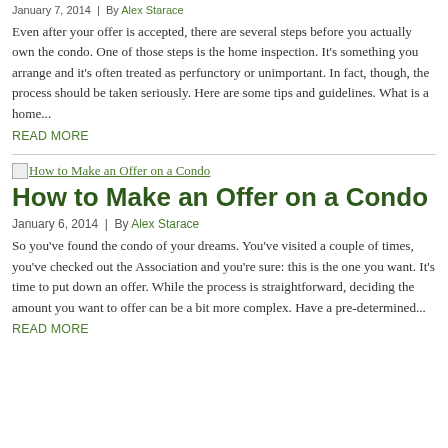January 7, 2014  |  By Alex Starace
Even after your offer is accepted, there are several steps before you actually own the condo. One of those steps is the home inspection. It's something you arrange and it's often treated as perfunctory or unimportant. In fact, though, the process should be taken seriously. Here are some tips and guidelines. What is a home...
READ MORE
[Figure (other): Broken image placeholder linking to 'How to Make an Offer on a Condo']
How to Make an Offer on a Condo
January 6, 2014  |  By Alex Starace
So you've found the condo of your dreams. You've visited a couple of times, you've checked out the Association and you're sure: this is the one you want. It's time to put down an offer. While the process is straightforward, deciding the amount you want to offer can be a bit more complex. Have a pre-determined...
READ MORE